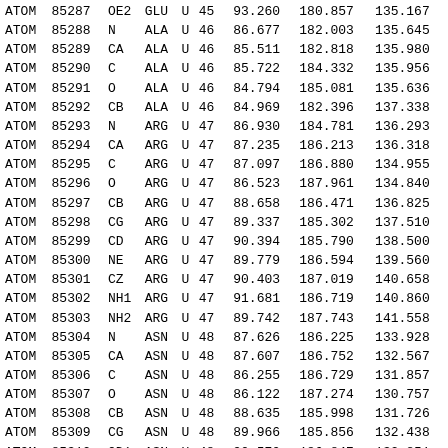| ATOM | 85287 | OE2 | GLU | U | 45 |  | 93.260 | 180.857 | 135.167 |
| ATOM | 85288 | N | ALA | U | 46 |  | 86.677 | 182.003 | 135.645 |
| ATOM | 85289 | CA | ALA | U | 46 |  | 85.511 | 182.818 | 135.980 |
| ATOM | 85290 | C | ALA | U | 46 |  | 85.722 | 184.332 | 135.956 |
| ATOM | 85291 | O | ALA | U | 46 |  | 84.794 | 185.081 | 135.636 |
| ATOM | 85292 | CB | ALA | U | 46 |  | 84.969 | 182.396 | 137.338 |
| ATOM | 85293 | N | ARG | U | 47 |  | 86.930 | 184.781 | 136.293 |
| ATOM | 85294 | CA | ARG | U | 47 |  | 87.235 | 186.213 | 136.318 |
| ATOM | 85295 | C | ARG | U | 47 |  | 87.097 | 186.880 | 134.955 |
| ATOM | 85296 | O | ARG | U | 47 |  | 86.523 | 187.961 | 134.840 |
| ATOM | 85297 | CB | ARG | U | 47 |  | 88.658 | 186.471 | 136.825 |
| ATOM | 85298 | CG | ARG | U | 47 |  | 89.337 | 185.302 | 137.510 |
| ATOM | 85299 | CD | ARG | U | 47 |  | 90.394 | 185.790 | 138.500 |
| ATOM | 85300 | NE | ARG | U | 47 |  | 89.779 | 186.594 | 139.560 |
| ATOM | 85301 | CZ | ARG | U | 47 |  | 90.403 | 187.019 | 140.658 |
| ATOM | 85302 | NH1 | ARG | U | 47 |  | 91.681 | 186.719 | 140.860 |
| ATOM | 85303 | NH2 | ARG | U | 47 |  | 89.742 | 187.743 | 141.558 |
| ATOM | 85304 | N | ASN | U | 48 |  | 87.626 | 186.225 | 133.928 |
| ATOM | 85305 | CA | ASN | U | 48 |  | 87.607 | 186.752 | 132.567 |
| ATOM | 85306 | C | ASN | U | 48 |  | 86.255 | 186.729 | 131.857 |
| ATOM | 85307 | O | ASN | U | 48 |  | 86.122 | 187.274 | 130.757 |
| ATOM | 85308 | CB | ASN | U | 48 |  | 88.635 | 185.998 | 131.726 |
| ATOM | 85309 | CG | ASN | U | 48 |  | 89.966 | 185.856 | 132.438 |
| ATOM | 85310 | OD1 | ASN | U | 48 |  | 90.570 | 186.847 | 132.851 |
| ATOM | 85311 | ND2 | ASN | U | 48 |  | 90.429 | 184.619 | 132.592 |
| ATOM | 85312 | N | LEU | U | 49 |  | 85.255 | 186.108 | 132.476 |
| ATOM | 85313 | CA | LEU | U | 49 |  | 83.931 | 186.032 | 131.873 |
| ATOM | 85314 | C | LEU | U | 49 |  | 82.973 | 187.016 | 132.523 |
| ATOM | 85315 | O | LEU | U | 49 |  | 82.546 | 186.833 | 133.662 |
| ATOM | 85316 | CB | LEU | U | 49 |  | 83.378 | 184.613 | 131.989 |